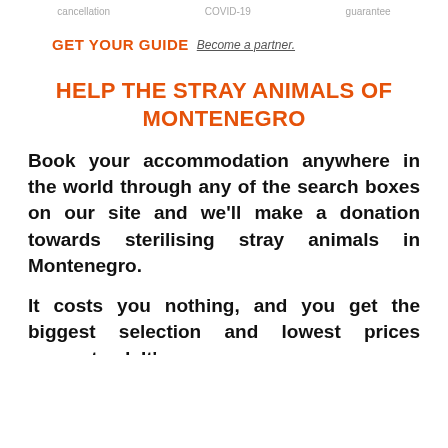cancellation   COVID-19   guarantee
GET YOUR GUIDE  Become a partner.
HELP THE STRAY ANIMALS OF MONTENEGRO
Book your accommodation anywhere in the world through any of the search boxes on our site and we'll make a donation towards sterilising stray animals in Montenegro.
It costs you nothing, and you get the biggest selection and lowest prices guaranteed. It's a